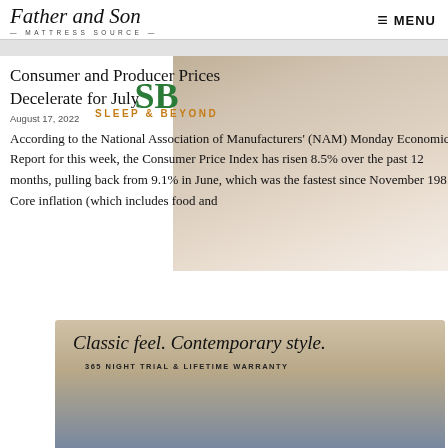Father and Son MATTRESS SOURCE — MENU
Consumer and Producer Prices Decelerate for July August 17, 2022
[Figure (logo): Sleep & Beyond logo with green SB monogram and orange text]
According to the National Association of Manufacturers' (NAM) Monday Economic Report for this week, the Consumer Price Index has risen 8.5% over the past 12 months, pulling back from 9.1% in June, which was the fastest since November 1981. Core inflation (which includes food and
[Figure (photo): Woman smiling on white pillow, bedroom setting advertisement photo]
[Figure (advertisement): Classic feel. Contemporary style. 365 NIGHT TRIAL & LIFETIME WARRANTY advertisement with couple on bed]